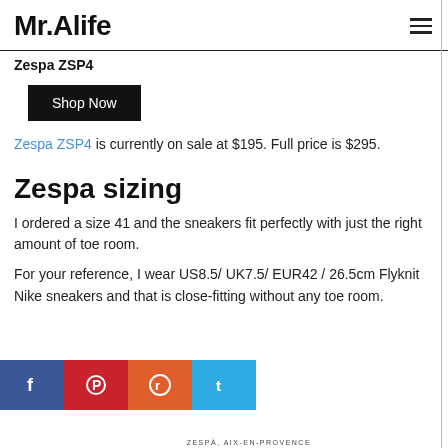Mr.Alife
Zespa ZSP4
Shop Now
Zespa ZSP4 is currently on sale at $195. Full price is $295.
Zespa sizing
I ordered a size 41 and the sneakers fit perfectly with just the right amount of toe room.
For your reference, I wear US8.5/ UK7.5/ EUR42 / 26.5cm Flyknit Nike sneakers and that is close-fitting without any toe room.
[Figure (other): Social sharing bar with Facebook, Pinterest, Reddit, and Twitter buttons]
ZESPÀ, AIX-EN-PROVENCE